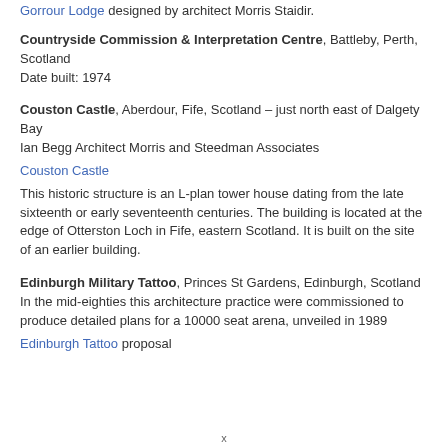Gorrour Lodge designed by architect Morris Staidir.
Countryside Commission & Interpretation Centre, Battleby, Perth, Scotland
Date built: 1974
Couston Castle, Aberdour, Fife, Scotland – just north east of Dalgety Bay
Ian Begg Architect Morris and Steedman Associates
Couston Castle
This historic structure is an L-plan tower house dating from the late sixteenth or early seventeenth centuries. The building is located at the edge of Otterston Loch in Fife, eastern Scotland. It is built on the site of an earlier building.
Edinburgh Military Tattoo, Princes St Gardens, Edinburgh, Scotland
In the mid-eighties this architecture practice were commissioned to produce detailed plans for a 10000 seat arena, unveiled in 1989
Edinburgh Tattoo proposal
x